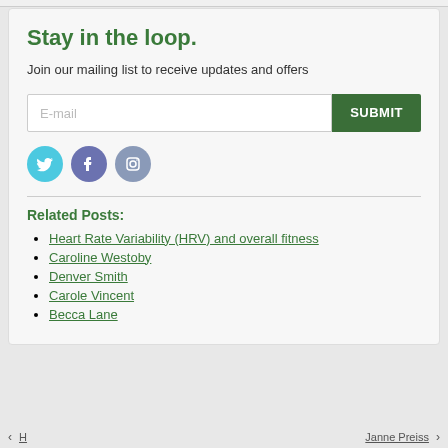Stay in the loop.
Join our mailing list to receive updates and offers
[Figure (infographic): Email input field with placeholder 'E-mail' and green SUBMIT button]
[Figure (infographic): Three social media icons: Twitter (blue), Facebook (purple), Instagram (grey-blue)]
Related Posts:
Heart Rate Variability (HRV) and overall fitness
Caroline Westoby
Denver Smith
Carole Vincent
Becca Lane
‹ H    Janne Preiss ›